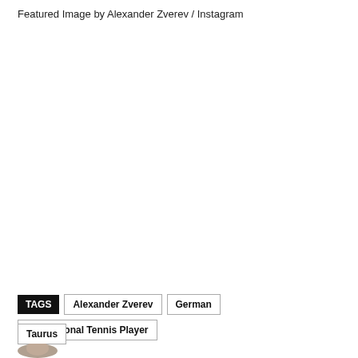Featured Image by Alexander Zverev / Instagram
TAGS  Alexander Zverev  German  Professional Tennis Player  Taurus